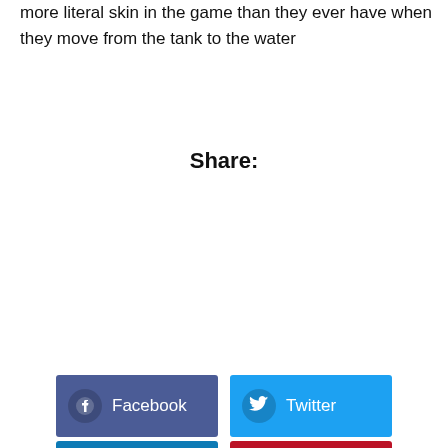more literal skin in the game than they ever have when they move from the tank to the water
Share:
[Figure (infographic): Social share buttons: Facebook (dark blue), Twitter (light blue), LinkedIn (medium blue), Pinterest (dark red), each with icon and label]
Facebook
Twitter
LinkedIn
Pinterest